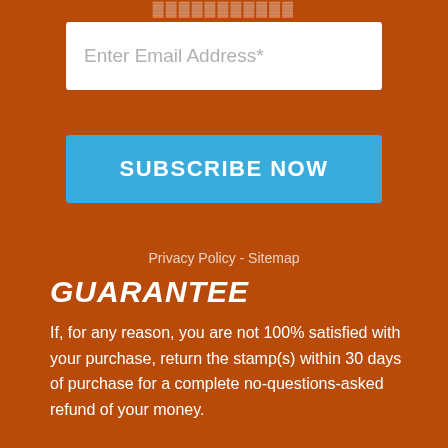Enter Email Address*
SUBSCRIBE NOW
Privacy Policy - Sitemap
GUARANTEE
If, for any reason, you are not 100% satisfied with your purchase, return the stamp(s) within 30 days of purchase for a complete no-questions-asked refund of your money.